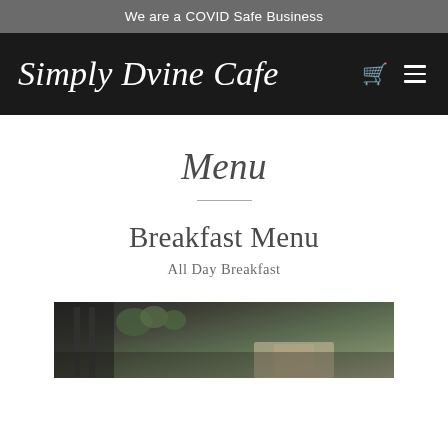We are a COVID Safe Business
Simply Dvine Cafe
Menu
Breakfast Menu
All Day Breakfast
[Figure (photo): Partial photo of cafe interior or breakfast setting, showing furniture and outdoor greenery]